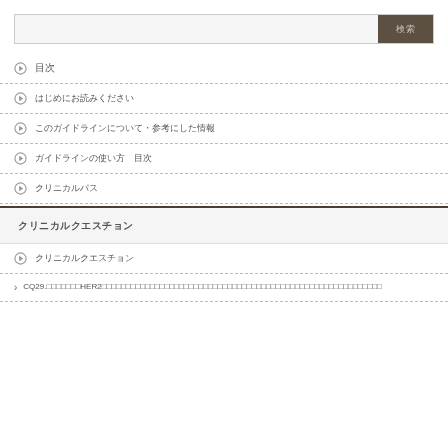[Figure (other): Search bar with button showing Japanese characters]
▶ 目次
▶ はじめにお読みください
▶ このガイドラインについて・参考にした情報
▶ ガイドラインの使い方　目次
▶ クリニカルパス
クリニカルクエスチョン
▶ クリニカルクエスチョン
CQ29.□□□□□□□HER2□□□□□□□□□□□□□□□□□□□□□□□□□□□□□□□□□□□□□□□□□□□□□□□□□□□□□□□□□□